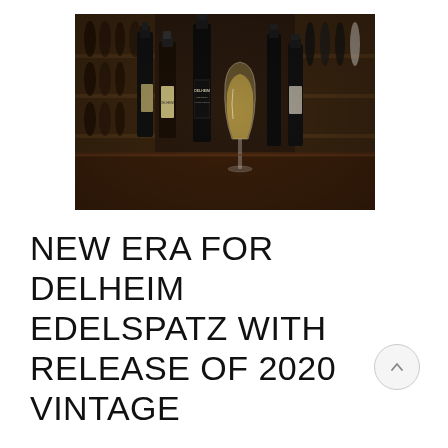[Figure (photo): Photo of multiple wine bottles and a wine glass filled with white/golden wine arranged on a wooden surface inside a wine shop with bottle-lined shelves in the background. Several dark and lighter labeled bottles visible including a Delheim Edelspatz bottle in the center-front.]
NEW ERA FOR DELHEIM EDELSPATZ WITH RELEASE OF 2020 VINTAGE